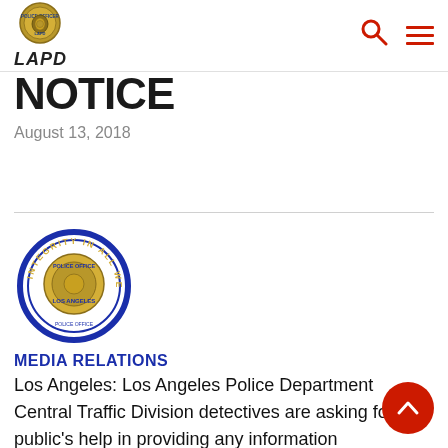LAPD
NOTICE
August 13, 2018
[Figure (logo): LAPD Media Relations badge logo with text MEDIA RELATIONS below]
Los Angeles: Los Angeles Police Department Central Traffic Division detectives are asking for the public's help in providing any information